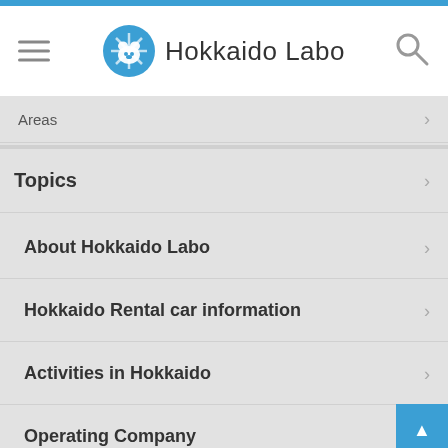Hokkaido Labo
Areas
Topics
About Hokkaido Labo
Hokkaido Rental car information
Activities in Hokkaido
Operating Company
Contact Us
Privacy Policy
Arranged Tour Contracts